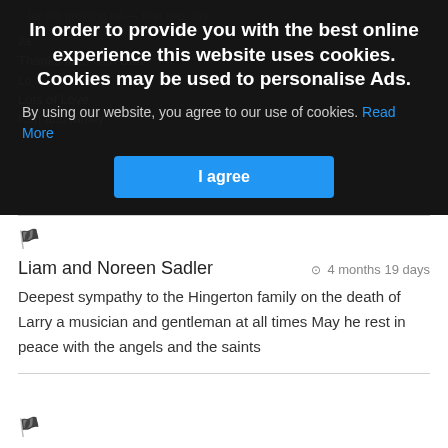In order to provide you with the best online experience this website uses cookies. Cookies may be used to personalise Ads.
By using our website, you agree to our use of cookies. Read More
I agree
Liam and Noreen Sadler  ⊙ 4 months 19 days
Deepest sympathy to the Hingerton family on the death of Larry a musician and gentleman at all times May he rest in peace with the angels and the saints